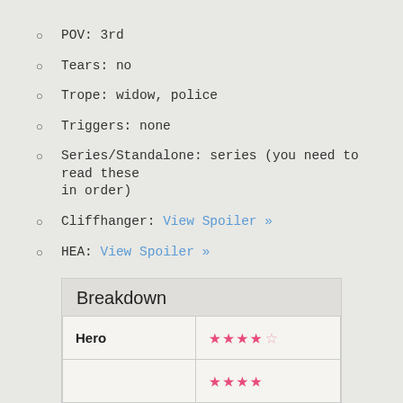POV: 3rd
Tears: no
Trope: widow, police
Triggers: none
Series/Standalone: series (you need to read these in order)
Cliffhanger: View Spoiler »
HEA: View Spoiler »
|  |  |
| --- | --- |
| Hero | ★★★★☆ |